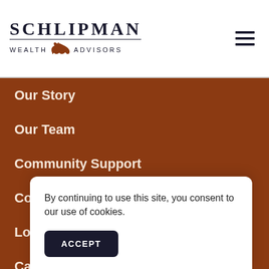SCHLIPMAN WEALTH ADVISORS
Our Story
Our Team
Community Support
Contact Us
Locations
Careers
Our Partners
Fr... (Frequently Asked Questions)
Se...
By continuing to use this site, you consent to our use of cookies.
ACCEPT